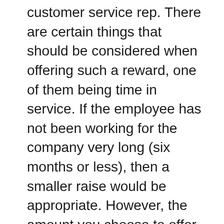customer service rep. There are certain things that should be considered when offering such a reward, one of them being time in service. If the employee has not been working for the company very long (six months or less), then a smaller raise would be appropriate. However, the amount you choose to offer the employee is entirely up to the company. It could be a small amount such as an extra .25 per hour, or if it?s in the company?s budget, more. If the employee has been working as a customer service rep for a decent amount of time, consider offering a larger raise. Remember that any amount will be appreciated by the employee, as they are also earning a paycheck to support themselves or their family.